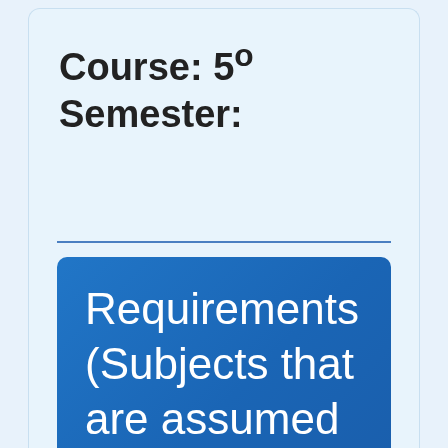Course: 5º
Semester:
Requirements (Subjects that are assumed to be known)